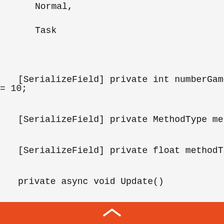Normal,
Task
[SerializeField] private int numberGameOb = 10;
[SerializeField] private MethodType metho
[SerializeField] private float methodTime
private async void Update()
float startTime = Time.realtimeSinceS
^